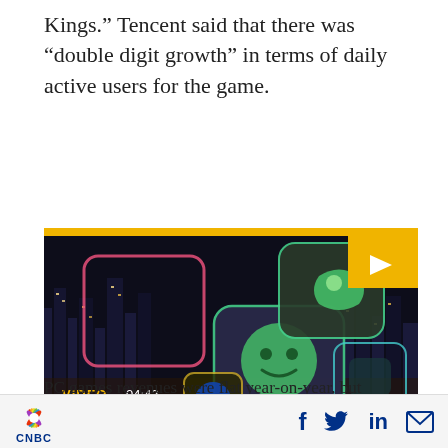Kings.” Tencent said that there was “double digit growth” in terms of daily active users for the game.
[Figure (screenshot): CNBC video thumbnail showing Tencent app icons over a city night skyline. Video duration 04:43, title 'What is Tencent?']
PC games revenues were flat year-on-year, but
CNBC logo with social icons: Facebook, Twitter, LinkedIn, Email